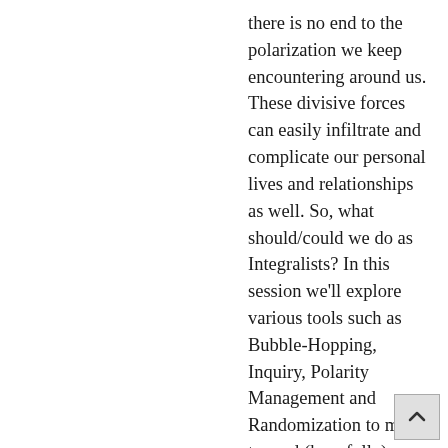there is no end to the polarization we keep encountering around us. These divisive forces can easily infiltrate and complicate our personal lives and relationships as well. So, what should/could we do as Integralists? In this session we'll explore various tools such as Bubble-Hopping, Inquiry, Polarity Management and Randomization to move toward (hopefully) more critical ...